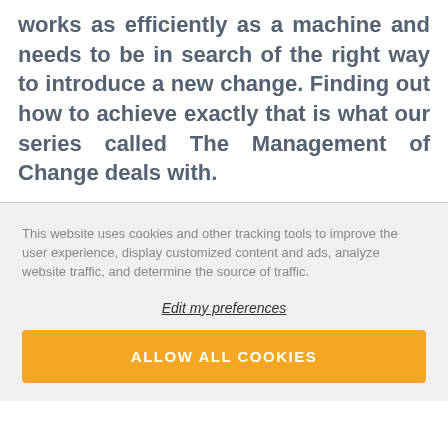works as efficiently as a machine and needs to be in search of the right way to introduce a new change. Finding out how to achieve exactly that is what our series called The Management of Change deals with.
This website uses cookies and other tracking tools to improve the user experience, display customized content and ads, analyze website traffic, and determine the source of traffic.
Edit my preferences
ALLOW ALL COOKIES